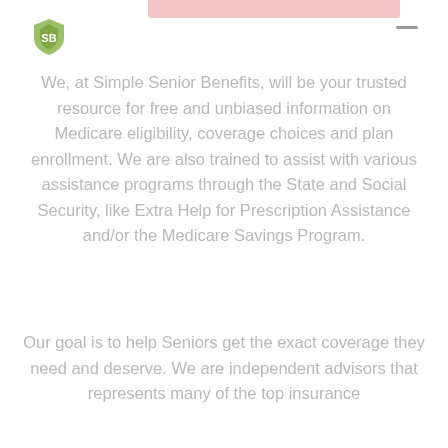[Figure (logo): Simple Senior Benefits logo — green shield/leaf emblem]
We, at Simple Senior Benefits, will be your trusted resource for free and unbiased information on Medicare eligibility, coverage choices and plan enrollment. We are also trained to assist with various assistance programs through the State and Social Security, like Extra Help for Prescription Assistance and/or the Medicare Savings Program.
Our goal is to help Seniors get the exact coverage they need and deserve. We are independent advisors that represents many of the top insurance